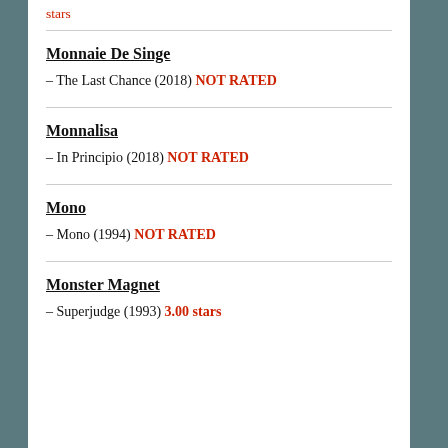stars
Monnaie De Singe
– The Last Chance (2018) NOT RATED
Monnalisa
– In Principio (2018) NOT RATED
Mono
– Mono (1994) NOT RATED
Monster Magnet
– Superjudge (1993) 3.00 stars